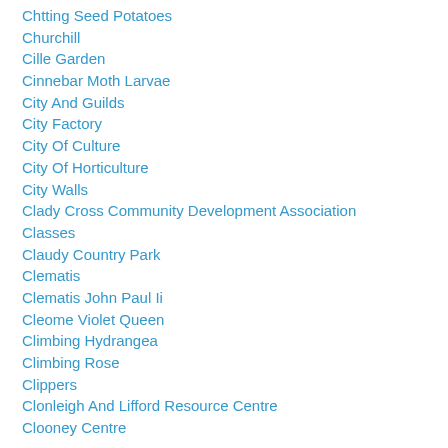Chtting Seed Potatoes
Churchill
Cille Garden
Cinnebar Moth Larvae
City And Guilds
City Factory
City Of Culture
City Of Horticulture
City Walls
Clady Cross Community Development Association
Classes
Claudy Country Park
Clematis
Clematis John Paul Ii
Cleome Violet Queen
Climbing Hydrangea
Climbing Rose
Clippers
Clonleigh And Lifford Resource Centre
Clooney Centre